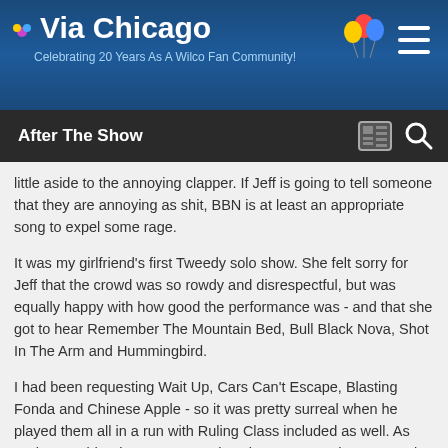Via Chicago — Celebrating 20 Years As A Wilco Fan Community!
After The Show
little aside to the annoying clapper. If Jeff is going to tell someone that they are annoying as shit, BBN is at least an appropriate song to expel some rage.
It was my girlfriend's first Tweedy solo show. She felt sorry for Jeff that the crowd was so rowdy and disrespectful, but was equally happy with how good the performance was - and that she got to hear Remember The Mountain Bed, Bull Black Nova, Shot In The Arm and Hummingbird.
I had been requesting Wait Up, Cars Can't Escape, Blasting Fonda and Chinese Apple - so it was pretty surreal when he played them all in a run with Ruling Class included as well. As Anthony said - The System Works! I know some others were also requesting to hear Chinese Apple - thanks to all involved for getting that song on the list. It was a real treat to hear. I love the groove of that song and the guitar parts are some of my favorites.